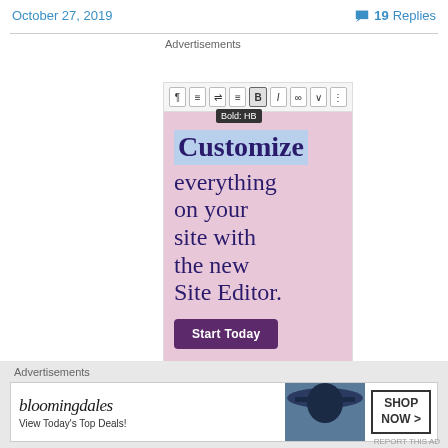October 27, 2019    💬 19 Replies
Advertisements
[Figure (screenshot): WordPress site editor advertisement with pink background. Shows editor toolbar with Bold button tooltip, large text reading 'Customize everything on your site with the new Site Editor.' and a dark purple 'Start Today' button.]
Advertisements
[Figure (screenshot): Bloomingdales advertisement banner showing logo in italic, 'View Today's Top Deals!' tagline, woman with hat image, and 'SHOP NOW >' button.]